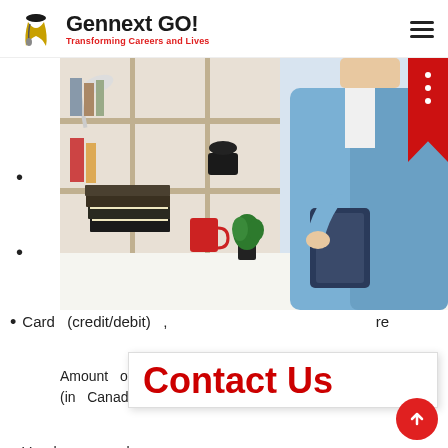Gennext GO! — Transforming Careers and Lives
[Figure (photo): Woman in blue blazer holding a tablet/clipboard, standing at an office desk with books, a plant, and shelves in background]
Card (credit/debit) ,   re
Amount of money   o (in Canadian dollars)   p
Contact Us
Vouchers can be